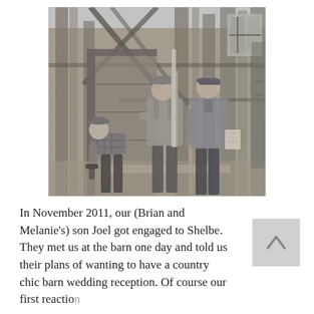[Figure (photo): Black and white historical photograph of three men working inside a wooden barn structure. One man on the left is bent over examining something, wearing a plaid shirt. Two men stand upright in the center and right, one holding a measuring tool or level vertically against the wooden wall.]
In November 2011, our (Brian and Melanie's) son Joel got engaged to Shelbe. They met us at the barn one day and told us their plans of wanting to have a country chic barn wedding reception. Of course our first reaction...